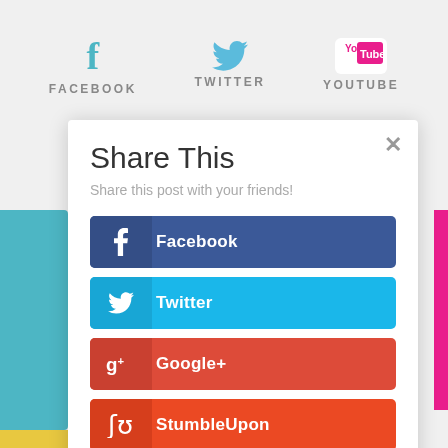[Figure (screenshot): Background social media navigation bar showing Facebook (teal f icon), Twitter (teal bird icon), and YouTube (pink logo) with labels]
Share This
Share this post with your friends!
Facebook
Twitter
Google+
StumbleUpon
Pinterest
Gmail